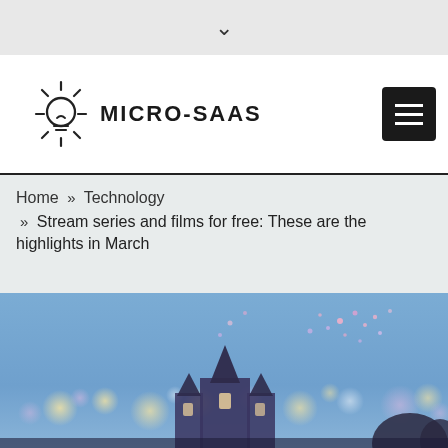▾
MICRO-SAAS
Home » Technology » Stream series and films for free: These are the highlights in March
[Figure (photo): A photo of a Disney-style castle at dusk/blue hour with bokeh lights and fireworks in the foreground and background]